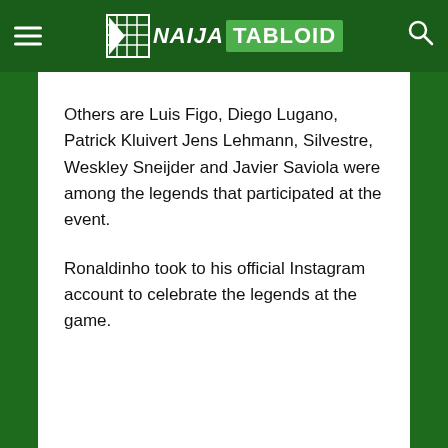NAIJA TABLOID
Others are Luis Figo, Diego Lugano, Patrick Kluivert Jens Lehmann, Silvestre, Weskley Sneijder and Javier Saviola were among the legends that participated at the event.
Ronaldinho took to his official Instagram account to celebrate the legends at the game.